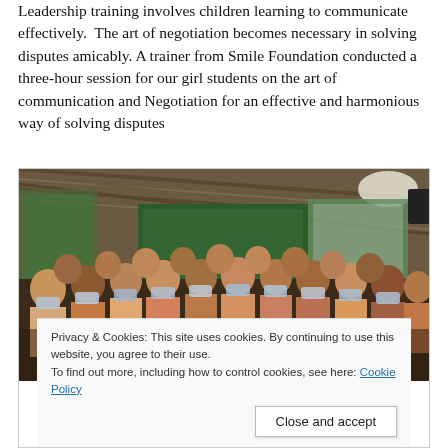Leadership training involves children learning to communicate effectively. The art of negotiation becomes necessary in solving disputes amicably. A trainer from Smile Foundation conducted a three-hour session for our girl students on the art of communication and Negotiation for an effective and harmonious way of solving disputes
[Figure (photo): Group photo of girl students wearing face masks seated and standing together in a large hall with corrugated metal roof, green chalkboard and banners visible in background.]
Privacy & Cookies: This site uses cookies. By continuing to use this website, you agree to their use.
To find out more, including how to control cookies, see here: Cookie Policy